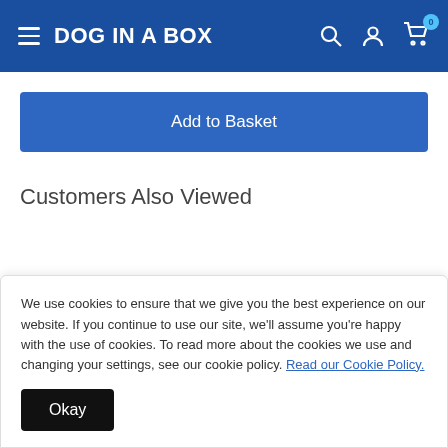DOG IN A BOX
Add to Basket
Customers Also Viewed
We use cookies to ensure that we give you the best experience on our website. If you continue to use our site, we'll assume you're happy with the use of cookies. To read more about the cookies we use and changing your settings, see our cookie policy. Read our Cookie Policy.
Okay